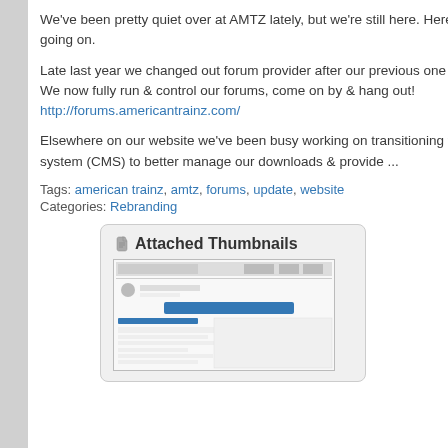We've been pretty quiet over at AMTZ lately, but we're still here. Here is a little update as to what is going on.
Late last year we changed out forum provider after our previous one was sold to another company. We now fully run & control our forums, come on by & hang out! http://forums.americantrainz.com/
Elsewhere on our website we've been busy working on transitioning to a new content management system (CMS) to better manage our downloads & provide ...
Tags: american trainz, amtz, forums, update, website
Categories: Rebranding
[Figure (screenshot): Attached Thumbnails box with a paperclip icon and a small screenshot of a forum interface]
Blog C
Global
Tra
Local C
Reb
Reb
Unc
Recent